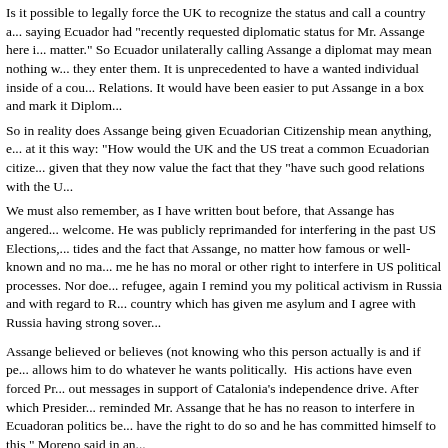Is it possible to legally force the UK to recognize the status and call a country a... saying Ecuador had "recently requested diplomatic status for Mr. Assange here i... matter." So Ecuador unilaterally calling Assange a diplomat may mean nothing w... they enter them. It is unprecedented to have a wanted individual inside of a cou... Relations. It would have been easier to put Assange in a box and mark it Diplom...
So in reality does Assange being given Ecuadorian Citizenship mean anything, e... at it this way: "How would the UK and the US treat a common Ecuadorian citize... given that they now value the fact that they "have such good relations with the U...
We must also remember, as I have written bout before, that Assange has angered... welcome. He was publicly reprimanded for interfering in the past US Elections,... tides and the fact that Assange, no matter how famous or well-known and no ma... me he has no moral or other right to interfere in US political processes. Nor doe... refugee, again I remind you my political activism in Russia and with regard to R... country which has given me asylum and I agree with Russia having strong sover...
Assange believed or believes (not knowing who this person actually is and if pe... allows him to do whatever he wants politically. His actions have even forced Pr... out messages in support of Catalonia's independence drive. After which Presider... reminded Mr. Assange that he has no reason to interfere in Ecuadoran politics be... have the right to do so and he has committed himself to this," Moreno said in an...
So our inside conclusion is as follows: given that MOSSAD and the Rothschilds... that WL is no longer useful, we are left to watch Ecuadorian citizen Assange (an... have never seen official asylum documents on Assange) as he will probably be r... "good relations" and President Correa is no longer around to defend him. Once t... period on the era of leaks and drive it home to real whistleblowers that the crimi...
I could be wrong but I have not been wrong so far.
https://www.enca.com/technology/ecuador-grants-citizenship-to-wikileaks-founder-assange-f...